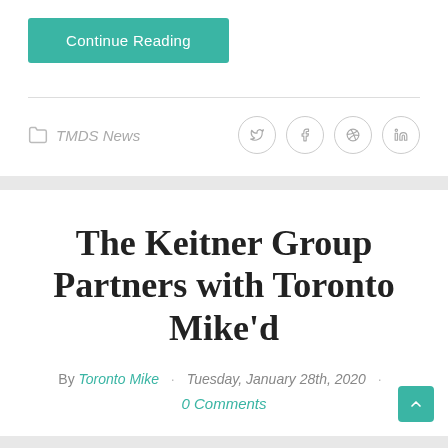Continue Reading
TMDS News
The Keitner Group Partners with Toronto Mike'd
By Toronto Mike · Tuesday, January 28th, 2020 · 0 Comments